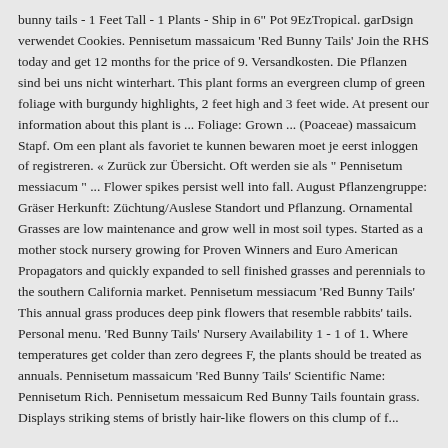bunny tails - 1 Feet Tall - 1 Plants - Ship in 6" Pot 9EzTropical. garDsign verwendet Cookies. Pennisetum massaicum 'Red Bunny Tails' Join the RHS today and get 12 months for the price of 9. Versandkosten. Die Pflanzen sind bei uns nicht winterhart. This plant forms an evergreen clump of green foliage with burgundy highlights, 2 feet high and 3 feet wide. At present our information about this plant is ... Foliage: Grown ... (Poaceae) massaicum Stapf. Om een plant als favoriet te kunnen bewaren moet je eerst inloggen of registreren. « Zurück zur Übersicht. Oft werden sie als " Pennisetum messiacum " ... Flower spikes persist well into fall. August Pflanzengruppe: Gräser Herkunft: Züchtung/Auslese Standort und Pflanzung. Ornamental Grasses are low maintenance and grow well in most soil types. Started as a mother stock nursery growing for Proven Winners and Euro American Propagators and quickly expanded to sell finished grasses and perennials to the southern California market. Pennisetum messiacum 'Red Bunny Tails' This annual grass produces deep pink flowers that resemble rabbits' tails. Personal menu. 'Red Bunny Tails' Nursery Availability 1 - 1 of 1. Where temperatures get colder than zero degrees F, the plants should be treated as annuals. Pennisetum massaicum 'Red Bunny Tails' Scientific Name: Pennisetum Rich. Pennisetum messaicum Red Bunny Tails fountain grass. Displays striking stems of bristly hair-like flowers on this clump of f...